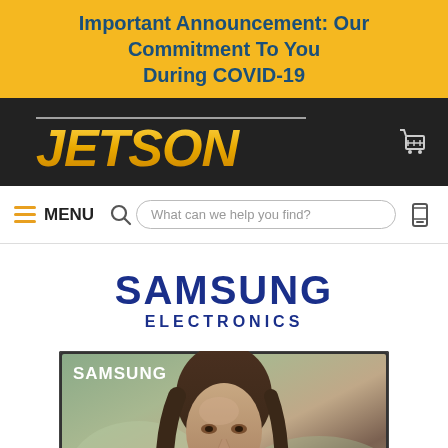Important Announcement: Our Commitment To You During COVID-19
[Figure (logo): Jetson logo in gold italic font on dark background header bar with shopping cart icon]
MENU | What can we help you find? [search bar] [mobile icon]
[Figure (logo): Samsung Electronics logo in dark blue bold text]
[Figure (photo): Samsung TV displaying image resembling the Mona Lisa painting with SAMSUNG text in upper left corner]